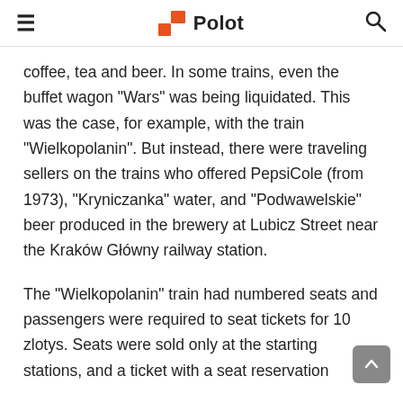Polot
coffee, tea and beer. In some trains, even the buffet wagon "Wars" was being liquidated. This was the case, for example, with the train "Wielkopolanin". But instead, there were traveling sellers on the trains who offered PepsiCole (from 1973), "Kryniczanka" water, and "Podwawelskie" beer produced in the brewery at Lubicz Street near the Kraków Główny railway station.
The "Wielkopolanin" train had numbered seats and passengers were required to seat tickets for 10 zlotys. Seats were sold only at the starting stations, and a ticket with a seat reservation